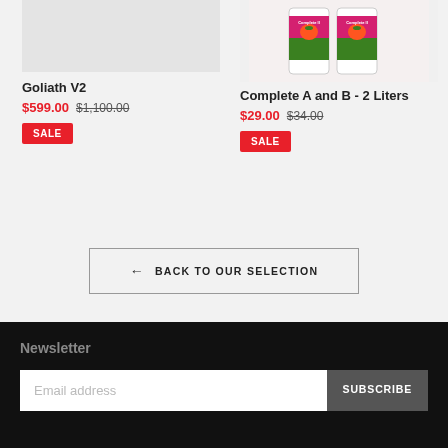[Figure (photo): Product image placeholder for Goliath V2 — light gray box]
Goliath V2
$599.00  $1,100.00
SALE
[Figure (photo): Two white bottles of Complete A and B nutrients with pink/green labels showing a tomato]
Complete A and B - 2 Liters
$29.00  $34.00
SALE
← BACK TO OUR SELECTION
Newsletter
Email address
SUBSCRIBE